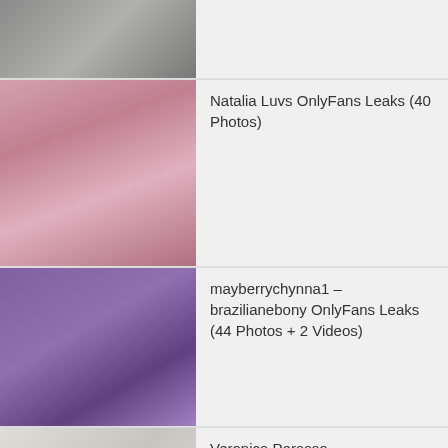[Figure (photo): Partial thumbnail of a person at top of page]
Natalia Luvs OnlyFans Leaks (40 Photos)
mayberrychynna1 – brazilianebony OnlyFans Leaks (44 Photos + 2 Videos)
Veronica Perasso – veronicaperasso OnlyFans Leaks (49 Photos + 5 Videos)
Jenjen Allison Leaks (40 Photos + 3 Videos)
[Figure (photo): Partial thumbnail at bottom of page]